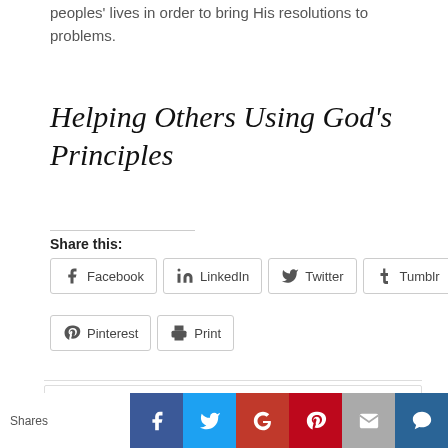peoples' lives in order to bring His resolutions to problems.
Helping Others Using God's Principles
Share this:
Facebook  LinkedIn  Twitter  Tumblr  Pinterest  Print
Search the site ...
Shares